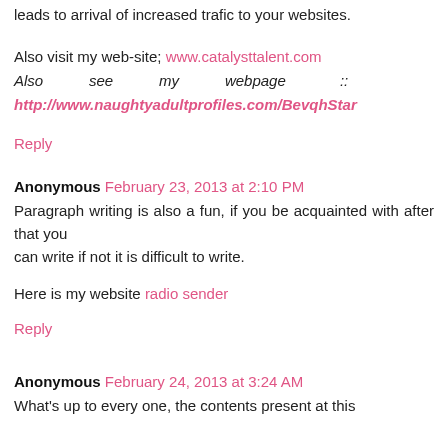leads to arrival of increased trafic to your websites.
Also visit my web-site; www.catalysttalent.com
Also see my webpage :: http://www.naughtyadultprofiles.com/BevqhStar
Reply
Anonymous February 23, 2013 at 2:10 PM
Paragraph writing is also a fun, if you be acquainted with after that you can write if not it is difficult to write.
Here is my website radio sender
Reply
Anonymous February 24, 2013 at 3:24 AM
What's up to every one, the contents present at this